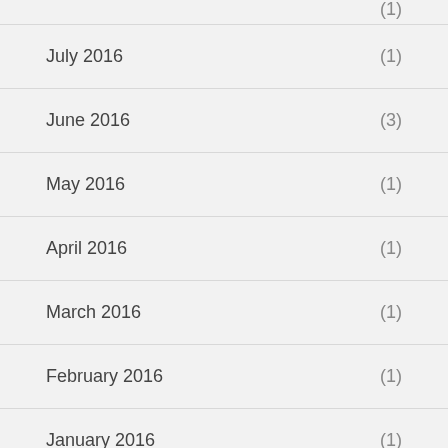July 2016 (1)
June 2016 (3)
May 2016 (1)
April 2016 (1)
March 2016 (1)
February 2016 (1)
January 2016 (1)
December 2015 (2)